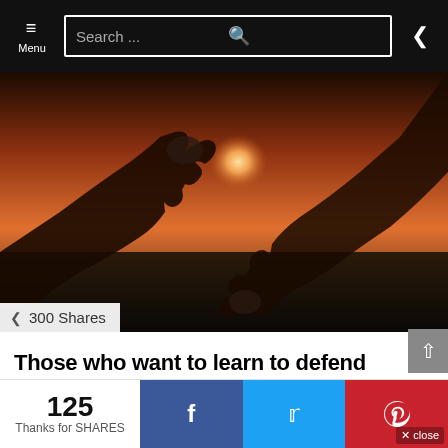Menu | Search ... | Share
[Figure (photo): Two people touching gloves/fists against a sunset sky background, martial arts or boxing context. Share icon with '300 Shares' overlay at bottom left.]
Those who want to learn to defend themselves look for a specialist
Questo articolo è disponibile anche in: Those who want to learn to defend themselves are looking for a specialist! Who is the personal defense instructor or combat sports. These days I was talking about it with some friends instructors and fans of combat sports, martial arts and personal defense. We are a nice group and [...] MORE
125 Thanks for SHARES | Facebook | Twitter | Pinterest | × close